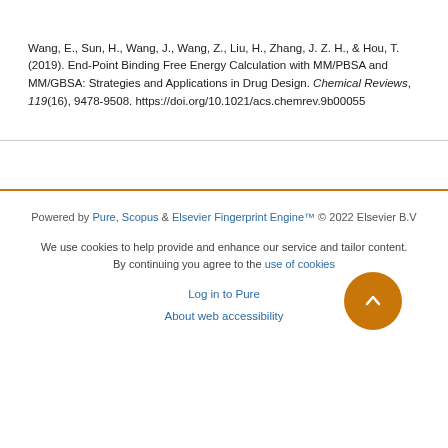Wang, E., Sun, H., Wang, J., Wang, Z., Liu, H., Zhang, J. Z. H., & Hou, T. (2019). End-Point Binding Free Energy Calculation with MM/PBSA and MM/GBSA: Strategies and Applications in Drug Design. Chemical Reviews, 119(16), 9478-9508. https://doi.org/10.1021/acs.chemrev.9b00055
Powered by Pure, Scopus & Elsevier Fingerprint Engine™ © 2022 Elsevier B.V
We use cookies to help provide and enhance our service and tailor content. By continuing you agree to the use of cookies
Log in to Pure
About web accessibility